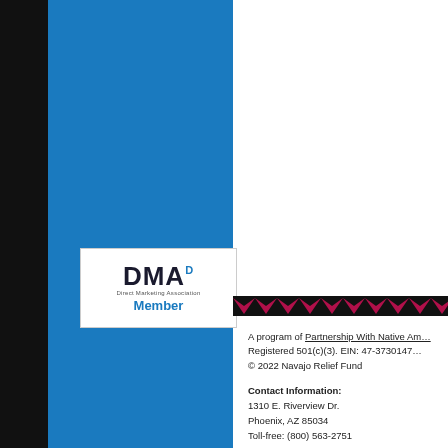[Figure (logo): DMA Direct Marketing Association Member logo badge in white box]
A program of Partnership With Native Am… Registered 501(c)(3). EIN: 47-3730147… © 2022 Navajo Relief Fund
Contact Information:
1310 E. Riverview Dr.
Phoenix, AZ 85034
Toll-free: (800) 563-2751
Email: info@nrfprograms.org
Web site: www.nrfprograms.org
Privacy Policy